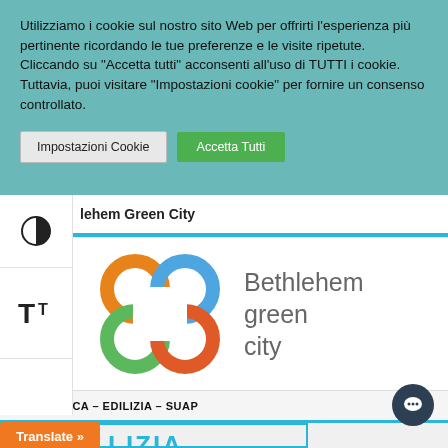Utilizziamo i cookie sul nostro sito Web per offrirti l'esperienza più pertinente ricordando le tue preferenze e le visite ripetute. Cliccando su "Accetta tutti" acconsenti all'uso di TUTTI i cookie. Tuttavia, puoi visitare "Impostazioni cookie" per fornire un consenso controllato.
lehem Green City
[Figure (logo): Bethlehem green city logo with colorful circular flower-like emblem and text]
URBANISTICA – EDILIZIA – SUAP
Translate »